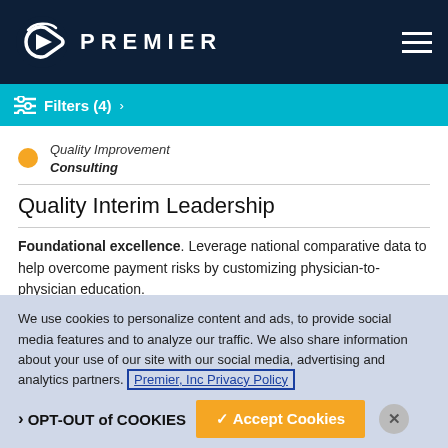PREMIER
Filters (4) >
Quality Improvement
Consulting
Quality Interim Leadership
Foundational excellence. Leverage national comparative data to help overcome payment risks by customizing physician-to-physician education.
We use cookies to personalize content and ads, to provide social media features and to analyze our traffic. We also share information about your use of our site with our social media, advertising and analytics partners. Premier, Inc Privacy Policy
› OPT-OUT of COOKIES
✓ Accept Cookies